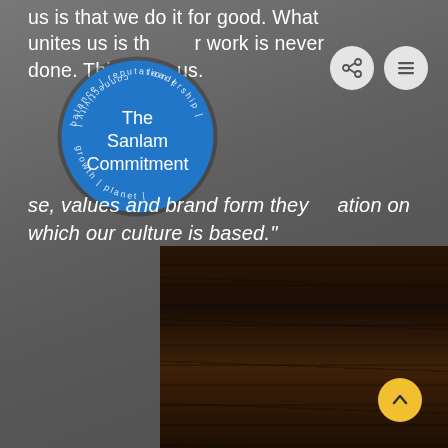us is that we do it for good. What unites us is that our work is never done. This wh… us.
[Figure (other): Circular blue badge with white text 'The Sanlam Commitment' in the center, surrounded by rotating text with words: balance, reputation, leadership, growth, planet, connectivity]
"...se, values and brand form they...ation on which our culture is based."
[Figure (photo): Dark wood texture photograph in the lower right portion of the page, showing dark brown wooden planks or logs]